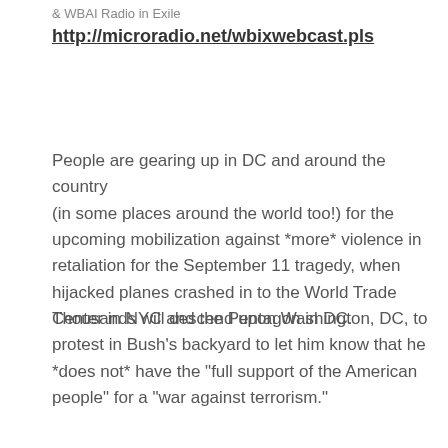& WBAI Radio in Exile
http://microradio.net/wbixwebcast.pls
People are gearing up in DC and around the country (in some places around the world too!) for the upcoming mobilization against *more* violence in retaliation for the September 11 tragedy, when hijacked planes crashed in to the World Trade Center in NYC and the Pentagon in DC.
Thousands will descend upon Washington, DC, to protest in Bush's backyard to let him know that he *does not* have the "full support of the American people" for a "war against terrorism."